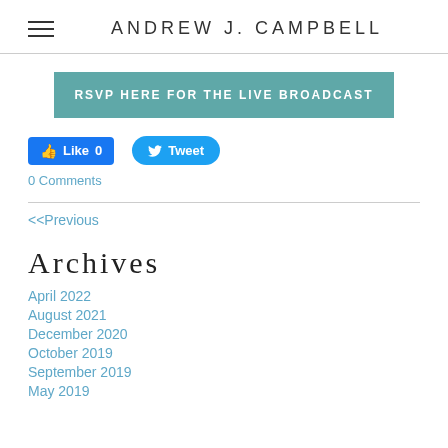ANDREW J. CAMPBELL
RSVP HERE FOR THE LIVE BROADCAST
[Figure (other): Facebook Like button (Like 0) and Twitter Tweet button]
0 Comments
<<Previous
Archives
April 2022
August 2021
December 2020
October 2019
September 2019
May 2019